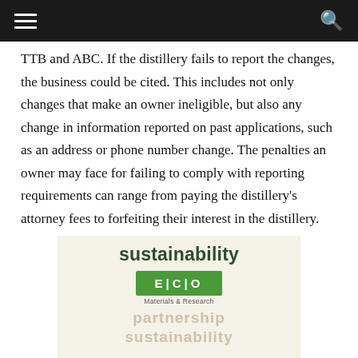[navigation bar with hamburger menu and search icon]
TTB and ABC. If the distillery fails to report the changes, the business could be cited. This includes not only changes that make an owner ineligible, but also any change in information reported on past applications, such as an address or phone number change. The penalties an owner may face for failing to comply with reporting requirements can range from paying the distillery's attorney fees to forfeiting their interest in the distillery.
[Figure (illustration): Advertisement for ECO Materials & Research featuring the word 'sustainability' in bold green text, a green logo box reading 'E|C|O Materials & Research', and partially visible text reading 'partnership' and 'sustainability' along with cork/bottle cap objects at the bottom.]